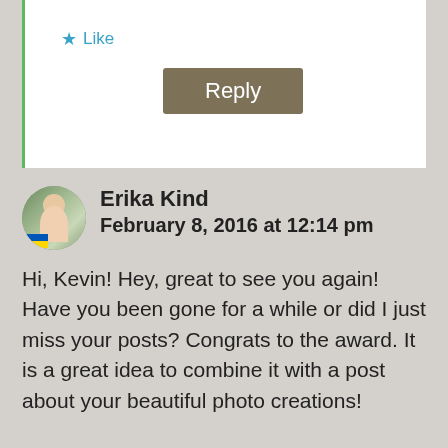★ Like
Reply
Erika Kind
February 8, 2016 at 12:14 pm
Hi, Kevin! Hey, great to see you again! Have you been gone for a while or did I just miss your posts? Congrats to the award. It is a great idea to combine it with a post about your beautiful photo creations!